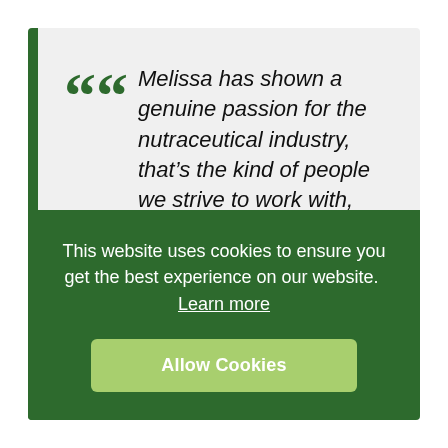“Melissa has shown a genuine passion for the nutraceutical industry, that’s the kind of people we strive to work with, those with focus and passion for the space we’re operating in. Her experience speaks for itself and she’ll be an asset…
This website uses cookies to ensure you get the best experience on our website. Learn more
Allow Cookies